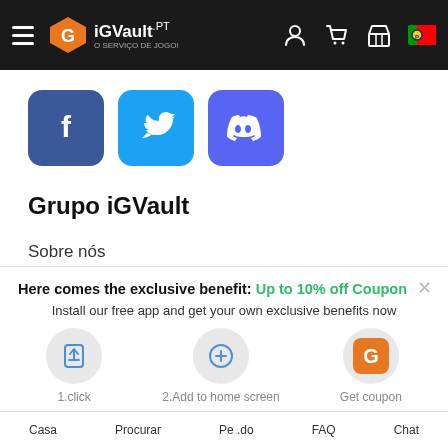iGVault.pt — O Serviço de Jogo!
[Figure (logo): iGVault logo with orange G icon and white text]
[Figure (infographic): Social media icons: Facebook (blue), Twitter (light blue), Discord (purple)]
Grupo iGVault
Sobre nós
Venda para nós
Here comes the exclusive benefit: Up to 10% off Coupon
Install our free app and get your own exclusive benefits now
[Figure (infographic): 3-step app install guide: 1.click (share icon), 2.Add to home screen (plus icon), Get coupon (iGVault icon)]
Casa   Procurar   Pedido   FAQ   Chat